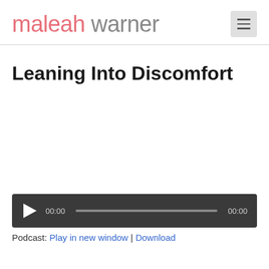maleah warner
Leaning Into Discomfort
[Figure (other): Audio player widget with play button, time display showing 00:00, progress bar, and end time 00:00 on dark background]
Podcast: Play in new window | Download